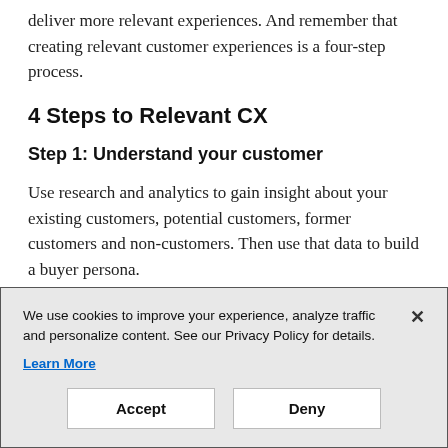deliver more relevant experiences. And remember that creating relevant customer experiences is a four-step process.
4 Steps to Relevant CX
Step 1: Understand your customer
Use research and analytics to gain insight about your existing customers, potential customers, former customers and non-customers. Then use that data to build a buyer persona.
We use cookies to improve your experience, analyze traffic and personalize content. See our Privacy Policy for details.
Learn More
Accept
Deny